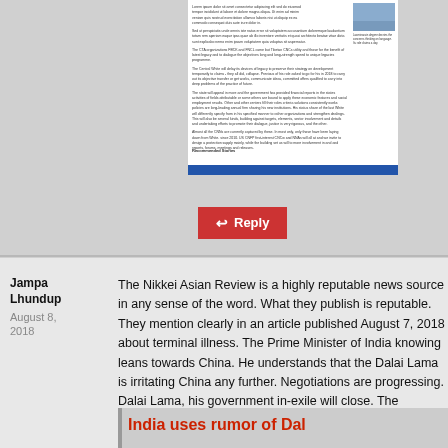[Figure (screenshot): Screenshot of a news article webpage with multiple text paragraphs, a small photo thumbnail in the top right, and a blue footer navigation bar. Shows 'Recommended Stories' section at bottom.]
Reply
Jampa Lhundup
August 8, 2018
The Nikkei Asian Review is a highly reputable news source in any sense of the word. What they publish is reputable. They mention clearly in an article published August 7, 2018 about terminal illness. The Prime Minister of India knowing leans towards China. He understands that the Dalai Lama is irritating China any further. Negotiations are progressing. Dalai Lama, his government in-exile will close. The
[Figure (screenshot): Embedded article preview with red title text reading 'India uses rumor of Dal...']